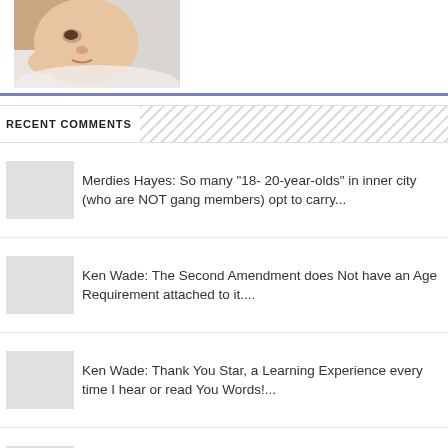[Figure (photo): Close-up photo of a newborn baby's face resting on white fabric]
RECENT COMMENTS
Merdies Hayes: So many "18- 20-year-olds" in inner city (who are NOT gang members) opt to carry...
Ken Wade: The Second Amendment does Not have an Age Requirement attached to it....
Ken Wade: Thank You Star, a Learning Experience every time I hear or read You Words!...
Tim Terry: Yep. Mr Elder is an intelligent wise courageous man and spot on. Unfortunately o...
Ken Wade: Blacks getting 13% of All the $1...